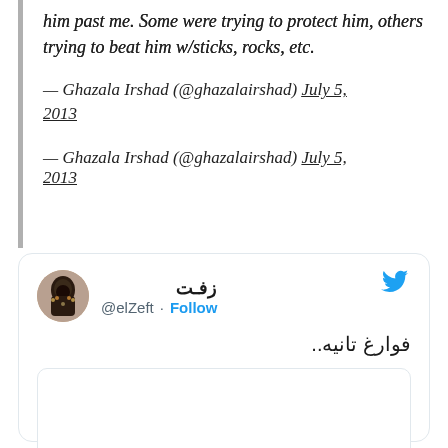him past me. Some were trying to protect him, others trying to beat him w/sticks, rocks, etc.
— Ghazala Irshad (@ghazalairshad) July 5, 2013
[Figure (screenshot): Tweet card from @elZeft (Arabic display name زفت) with Follow button and Twitter bird icon. Tweet body in Arabic: فوارغ تانيه.. followed by an embedded tweet box (empty/image not loaded).]